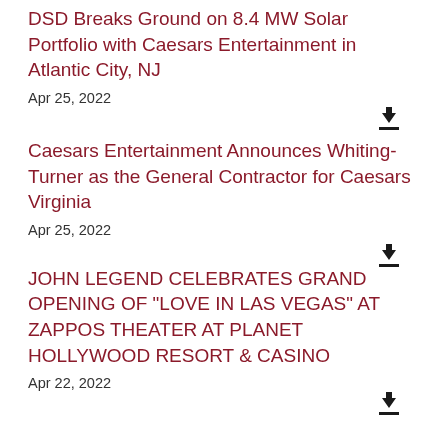DSD Breaks Ground on 8.4 MW Solar Portfolio with Caesars Entertainment in Atlantic City, NJ
Apr 25, 2022
Caesars Entertainment Announces Whiting-Turner as the General Contractor for Caesars Virginia
Apr 25, 2022
JOHN LEGEND CELEBRATES GRAND OPENING OF "LOVE IN LAS VEGAS" AT ZAPPOS THEATER AT PLANET HOLLYWOOD RESORT & CASINO
Apr 22, 2022